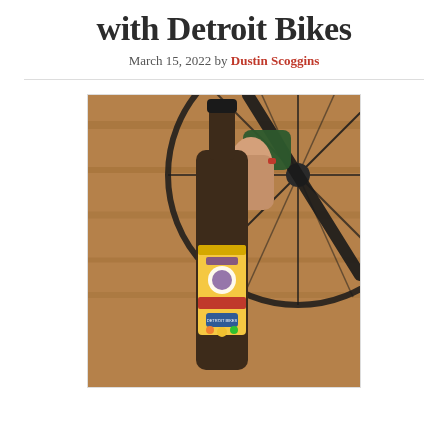with Detroit Bikes
March 15, 2022 by Dustin Scoggins
[Figure (photo): A hand with red nail polish holding up a brown beer bottle with a yellow label reading 'Collaboration Series' and 'Detroit Bikes', in front of a wooden bicycle wheel and dark bike frame.]